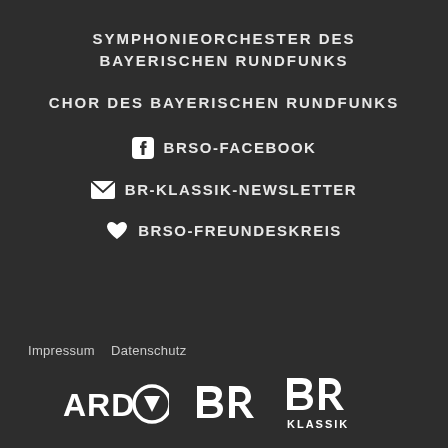SYMPHONIEORCHESTER DES BAYERISCHEN RUNDFUNKS
CHOR DES BAYERISCHEN RUNDFUNKS
BRSO-FACEBOOK
BR-KLASSIK-NEWSLETTER
BRSO-FREUNDESKREIS
Impressum   Datenschutz
[Figure (logo): ARD Das Erste logo – white text on dark background]
[Figure (logo): BR logo – white stylized BR letters on dark background]
[Figure (logo): BR Klassik logo – white stylized BR with KLASSIK text on dark background]